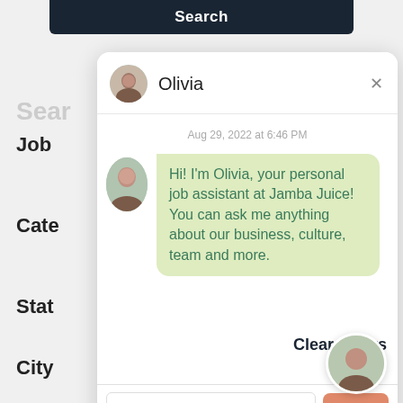[Figure (screenshot): Screenshot of a job search web application with a chat modal overlay. The background shows a dark search bar at the top and left sidebar labels for Job, Category, State, City. A white chat modal is open showing a chatbot named Olivia from Jamba Juice. The chat shows a message dated Aug 29, 2022 at 6:46 PM with Olivia's greeting about being a personal job assistant. The modal has a message input area with a Send button, Terms and Powered by Paradox footer, and a floating avatar in the bottom right corner.]